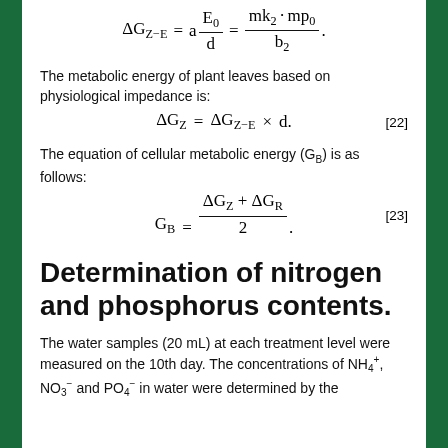The metabolic energy of plant leaves based on physiological impedance is:
The equation of cellular metabolic energy (G_B) is as follows:
Determination of nitrogen and phosphorus contents.
The water samples (20 mL) at each treatment level were measured on the 10th day. The concentrations of NH₄⁺, NO₃⁻ and PO₄⁻ in water were determined by the